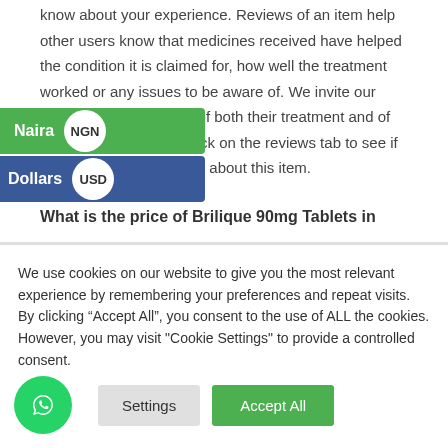know about your experience. Reviews of an item help other users know that medicines received have helped the condition it is claimed for, how well the treatment worked or any issues to be aware of. We invite our users to leave a review of both their treatment and of the service provided. Click on the reviews tab to see if there has been feedback about this item.
What is the price of Brilique 90mg Tablets in
We use cookies on our website to give you the most relevant experience by remembering your preferences and repeat visits. By clicking “Accept All”, you consent to the use of ALL the cookies. However, you may visit "Cookie Settings" to provide a controlled consent.